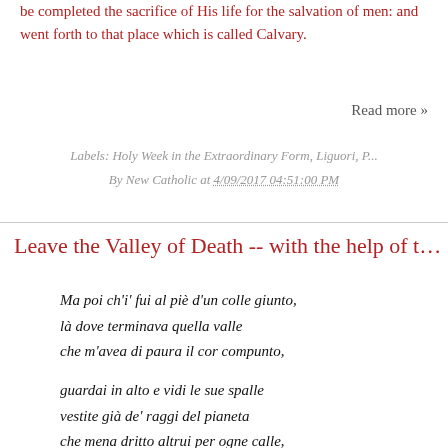be completed the sacrifice of His life for the salvation of men: and went forth to that place which is called Calvary.
Read more »
Labels: Holy Week in the Extraordinary Form, Liguori, P...
By New Catholic at 4/09/2017 04:51:00 PM
Leave the Valley of Death -- with the help of t...
Ma poi ch'i' fui al piè d'un colle giunto,
là dove terminava quella valle
che m'avea di paura il cor compunto,
guardai in alto e vidi le sue spalle
vestite già de' raggi del pianeta
che mena dritto altrui per ogne calle,